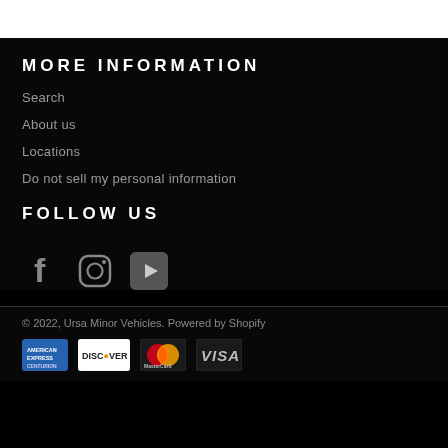MORE INFORMATION
Search
About us
Locations
Do not sell my personal information
FOLLOW US
[Figure (illustration): Social media icons: Facebook, Instagram, YouTube]
© 2022, Ursa Minor Vehicles. Powered by Shopify
[Figure (illustration): Payment method logos: American Express, Discover, MasterCard, Visa]